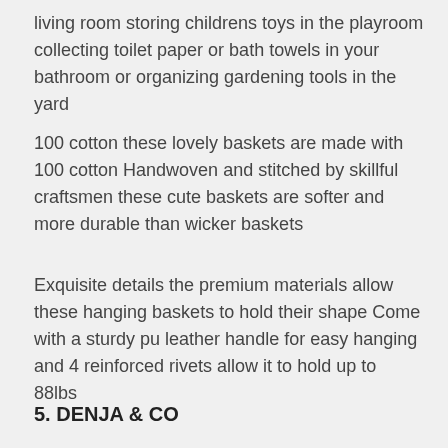living room storing childrens toys in the playroom collecting toilet paper or bath towels in your bathroom or organizing gardening tools in the yard
100 cotton these lovely baskets are made with 100 cotton Handwoven and stitched by skillful craftsmen these cute baskets are softer and more durable than wicker baskets
Exquisite details the premium materials allow these hanging baskets to hold their shape Come with a sturdy pu leather handle for easy hanging and 4 reinforced rivets allow it to hold up to 88lbs
5. DENJA & CO